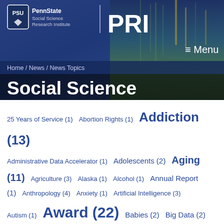[Figure (logo): PennState Social Science Research Institute PRI logo on blue header background]
≡ Menu
Home / News / News Topics
Social Science
25 Years of Service (1)
Abortion Rights (1)
Addiction (13)
Administrative Data Accelerator (1)
Adolescents (2)
Aging (11)
Agriculture (3)
Alaska (1)
Alcohol (1)
Annual Report (1)
Anthropology (4)
Anxiety (1)
Artificial Intelligence (3)
Autism (1)
Award (22)
Babies (2)
Big Data (2)
Biobehavioral Health (9)
Brain (4)
Business (1)
Cancer (1)
CCSA (11)
Celebration (3)
Census (8)
Center for Education and Civil Rights (6)
Center for Educational Disparities (26)
Center for Security